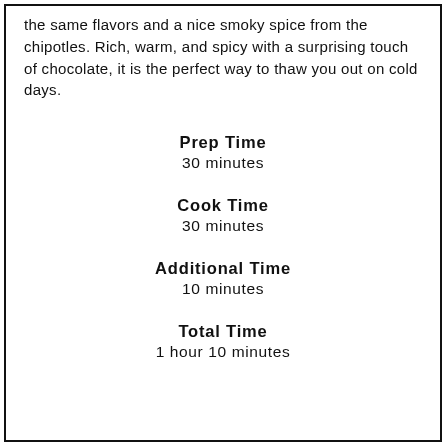the same flavors and a nice smoky spice from the chipotles. Rich, warm, and spicy with a surprising touch of chocolate, it is the perfect way to thaw you out on cold days.
Prep Time
30 minutes
Cook Time
30 minutes
Additional Time
10 minutes
Total Time
1 hour 10 minutes